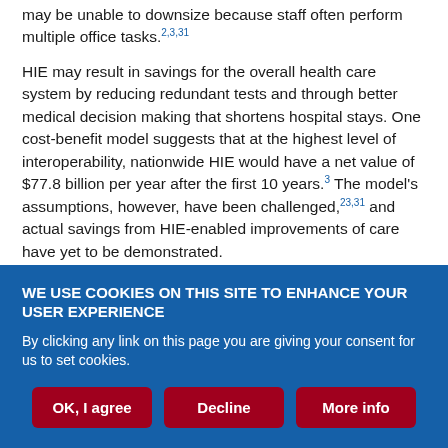may be unable to downsize because staff often perform multiple office tasks.2,3,31
HIE may result in savings for the overall health care system by reducing redundant tests and through better medical decision making that shortens hospital stays. One cost-benefit model suggests that at the highest level of interoperability, nationwide HIE would have a net value of $77.8 billion per year after the first 10 years.3 The model's assumptions, however, have been challenged,23,31 and actual savings from HIE-enabled improvements of care have yet to be demonstrated.
WE USE COOKIES ON THIS SITE TO ENHANCE YOUR USER EXPERIENCE
By clicking any link on this page you are giving your consent for us to set cookies.
OK, I agree | Decline | More info